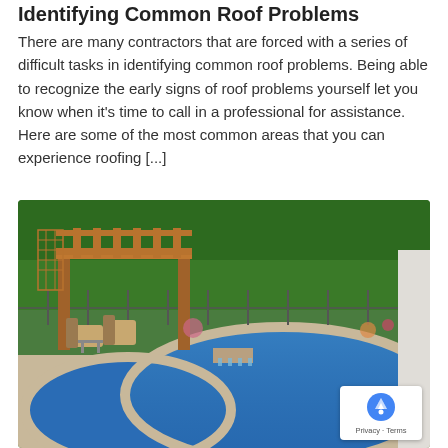Identifying Common Roof Problems
There are many contractors that are forced with a series of difficult tasks in identifying common roof problems. Being able to recognize the early signs of roof problems yourself let you know when it's time to call in a professional for assistance. Here are some of the most common areas that you can experience roofing [...]
[Figure (photo): Outdoor backyard scene with a kidney-shaped swimming pool featuring a waterfall feature, surrounded by stone paving, patio furniture under a wooden pergola, lush green trees and garden landscaping, and a metal fence in the background.]